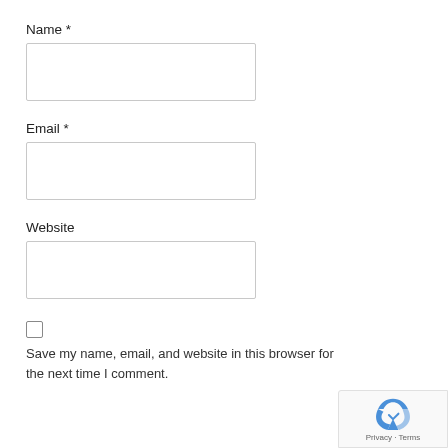Name *
Email *
Website
Save my name, email, and website in this browser for the next time I comment.